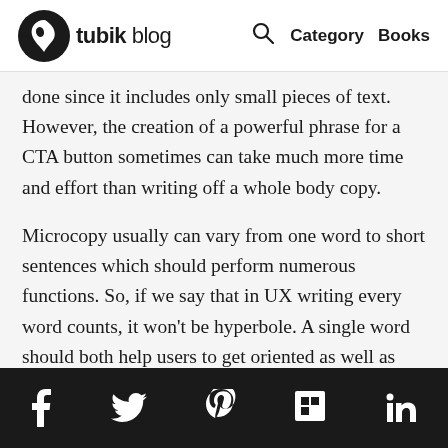tubik blog  Category Books
done since it includes only small pieces of text. However, the creation of a powerful phrase for a CTA button sometimes can take much more time and effort than writing off a whole body copy.
Microcopy usually can vary from one word to short sentences which should perform numerous functions. So, if we say that in UX writing every word counts, it won't be hyperbole. A single word should both help users to get oriented as well as encourage them to stick around. Moreover, there is often a business goal standing behind CTA buttons, so this factor should also be considered during UX writing.
f  Twitter  Pinterest  Flipboard  in